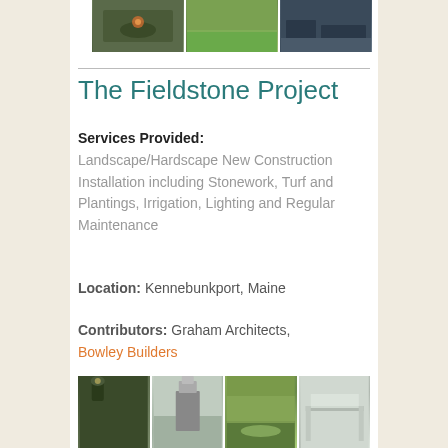[Figure (photo): Three outdoor landscape/patio photos in a horizontal strip at the top: fire pit seating area, green lawn, and dark outdoor furniture patio]
The Fieldstone Project
Services Provided: Landscape/Hardscape New Construction Installation including Stonework, Turf and Plantings, Irrigation, Lighting and Regular Maintenance
Location: Kennebunkport, Maine
Contributors: Graham Architects, Bowley Builders
[Figure (photo): Four outdoor landscape and architecture photos in a horizontal strip at the bottom: garden lamp, modern home entrance with plantings, lush garden path, white pergola structure]